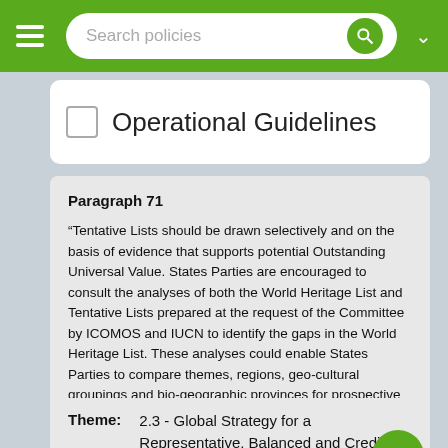Search policies
Operational Guidelines
Paragraph 71
“Tentative Lists should be drawn selectively and on the basis of evidence that supports potential Outstanding Universal Value. States Parties are encouraged to consult the analyses of both the World Heritage List and Tentative Lists prepared at the request of the Committee by ICOMOS and IUCN to identify the gaps in the World Heritage List. These analyses could enable States Parties to compare themes, regions, geo-cultural groupings and bio-geographic provinces for prospective World Heritage properties (…).”
Theme: 2.3 - Global Strategy for a Representative, Balanced and Credible World Heritage List